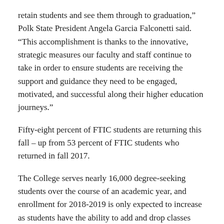retain students and see them through to graduation," Polk State President Angela Garcia Falconetti said. "This accomplishment is thanks to the innovative, strategic measures our faculty and staff continue to take in order to ensure students are receiving the support and guidance they need to be engaged, motivated, and successful along their higher education journeys."
Fifty-eight percent of FTIC students are returning this fall – up from 53 percent of FTIC students who returned in fall 2017.
The College serves nearly 16,000 degree-seeking students over the course of an academic year, and enrollment for 2018-2019 is only expected to increase as students have the ability to add and drop classes through Sunday, August 26. They also have the opportunity to enroll in a 12-week session that starts September 17 and an eight-week session that starts October 15.
This year, the College's improvements in retention and completion rates were reflected in its performance-based funding scores thanks to